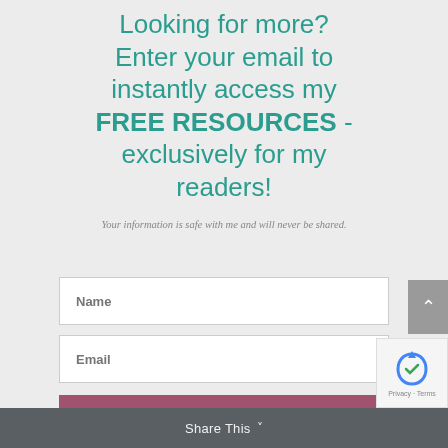Looking for more? Enter your email to instantly access my FREE RESOURCES - exclusively for my readers!
Your information is safe with me and will never be shared.
Name
Email
SUBSCRIBE!
Share This